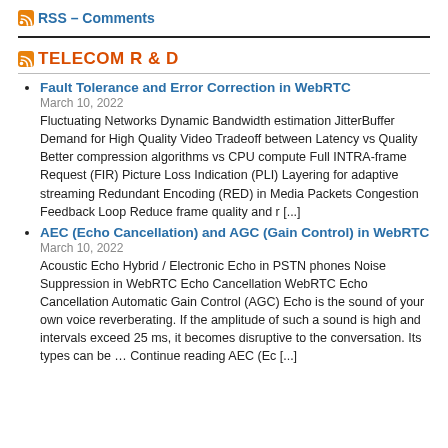RSS – Comments
TELECOM R & D
Fault Tolerance and Error Correction in WebRTC
March 10, 2022
Fluctuating Networks Dynamic Bandwidth estimation JitterBuffer Demand for High Quality Video Tradeoff between Latency vs Quality Better compression algorithms vs CPU compute Full INTRA-frame Request (FIR) Picture Loss Indication (PLI) Layering for adaptive streaming Redundant Encoding (RED) in Media Packets Congestion Feedback Loop Reduce frame quality and r [...]
AEC (Echo Cancellation) and AGC (Gain Control) in WebRTC
March 10, 2022
Acoustic Echo Hybrid / Electronic Echo in PSTN phones Noise Suppression in WebRTC Echo Cancellation WebRTC Echo Cancellation Automatic Gain Control (AGC) Echo is the sound of your own voice reverberating. If the amplitude of such a sound is high and intervals exceed 25 ms, it becomes disruptive to the conversation. Its types can be ... Continue reading AEC (Ec [...]